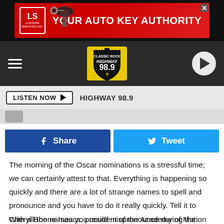[Figure (screenshot): Advertisement banner for Loksafe Services Inc. with text YOUR AUTO KEY AUTHORITY on red background with car key image]
[Figure (screenshot): Classic Rock Highway 98.9 radio station navigation bar with hamburger menu, logo, and play button]
[Figure (screenshot): LISTEN NOW button bar with HIGHWAY 98.9 text]
[Figure (screenshot): Social sharing buttons: Share (Facebook blue) and Tweet (Twitter blue)]
The morning of the Oscar nominations is a stressful time; we can certainly attest to that. Everything is happening so quickly and there are a lot of strange names to spell and pronounce and you have to do it really quickly. Tell it to Cheryl Boone Isaacs, president of the Academy of Motion Picture Arts and Sciences, who accidentally announced “Dick Poop” as an Oscar nominee this morning.
With all the names you could mispronounce during the Oscar...